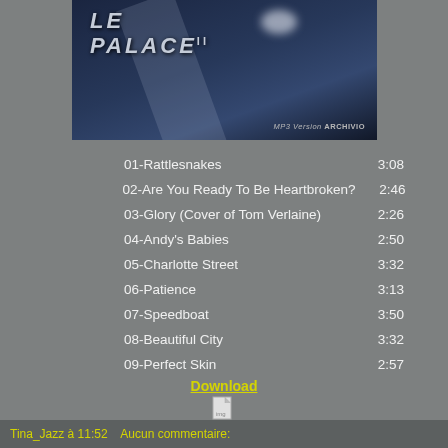[Figure (photo): Album cover photograph showing dark blue/navy background with diagonal stripe and text reading 'LE PALACE' with a moon/light shape and archival logo bottom right]
01-Rattlesnakes    3:08
02-Are You Ready To Be Heartbroken? 2:46
03-Glory (Cover of Tom Verlaine)    2:26
04-Andy's Babies    2:50
05-Charlotte Street    3:32
06-Patience    3:13
07-Speedboat    3:50
08-Beautiful City    3:32
09-Perfect Skin    2:57
10-Forest Fire    4:08
11-Glory (Reprise)    2:24
Download
Tina_Jazz à 11:52    Aucun commentaire: